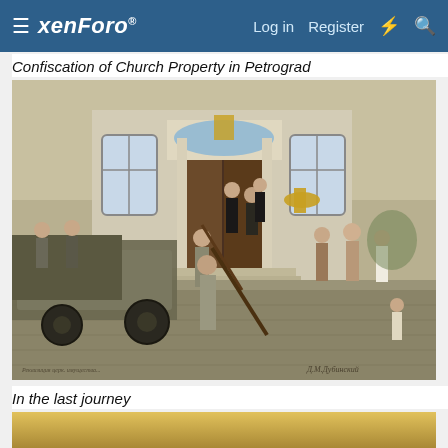xenForo  Log in  Register
Confiscation of Church Property in Petrograd
[Figure (illustration): Historical illustration depicting the confiscation of church property in Petrograd. Soldiers with rifles and Soviet-era workers are removing religious objects from a church entrance. A truck is parked on the left being loaded with goods. Clergy and civilians observe in protest. The scene is painted in a realistic early 20th century style. Artist signature visible at bottom right.]
In the last journey
[Figure (photo): Partial view of another historical image with golden/yellow tones at the bottom of the page.]